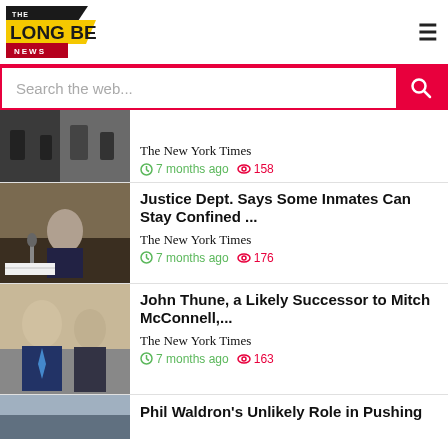[Figure (logo): The Long Beach News logo]
Search the web...
[Figure (photo): News article thumbnail - people with phones]
The New York Times
7 months ago  158
[Figure (photo): News article thumbnail - man at hearing (Merrick Garland)]
Justice Dept. Says Some Inmates Can Stay Confined ...
The New York Times
7 months ago  176
[Figure (photo): News article thumbnail - John Thune and Mitch McConnell]
John Thune, a Likely Successor to Mitch McConnell,...
The New York Times
7 months ago  163
[Figure (photo): News article thumbnail - partial, Phil Waldron story]
Phil Waldron's Unlikely Role in Pushing